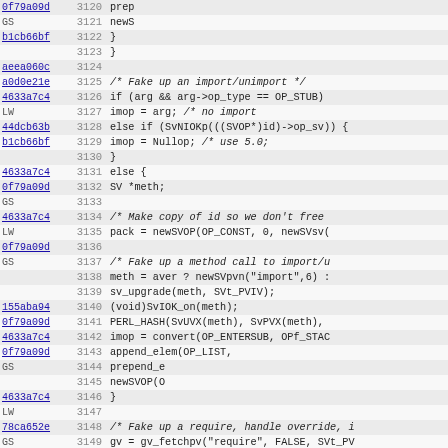[Figure (screenshot): Source code viewer showing lines 3120-3151 of a C/Perl source file with line numbers, commit hashes as hyperlinks, and code content including comments and function calls related to import/unimport handling]